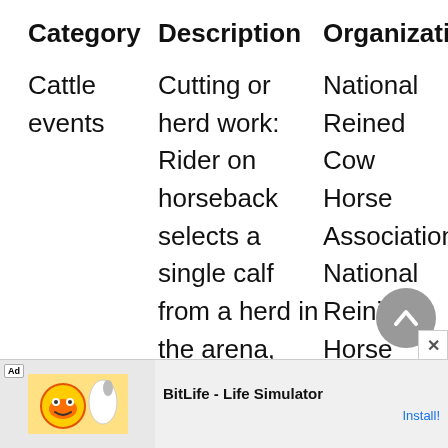| Category | Description | Organizations |
| --- | --- | --- |
| Cattle events | Cutting or herd work: Rider on horseback selects a single calf from a herd in the arena, guides it into the center of the arena, and | National Reined Cow Horse Association, National Reining Horse Association, National Cutting Horse Association, |